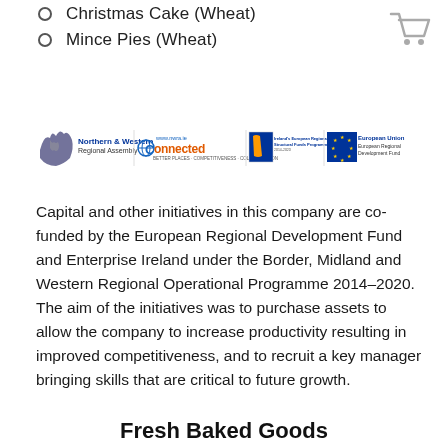Christmas Cake (Wheat)
Mince Pies (Wheat)
[Figure (logo): Northern & Western Regional Assembly, Connected (NWRA), Ireland's European Regional and Structural Funds Programmes, and European Union European Regional Development Fund logos]
Capital and other initiatives in this company are co-funded by the European Regional Development Fund and Enterprise Ireland under the Border, Midland and Western Regional Operational Programme 2014–2020. The aim of the initiatives was to purchase assets to allow the company to increase productivity resulting in improved competitiveness, and to recruit a key manager bringing skills that are critical to future growth.
Fresh Baked Goods